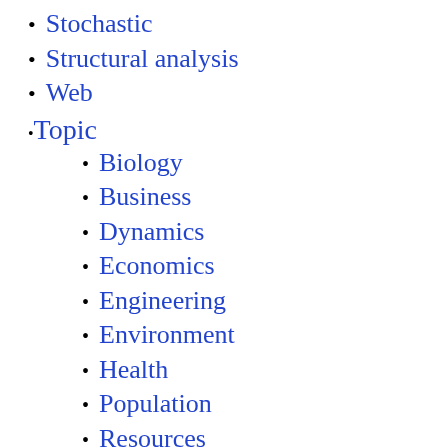Stochastic
Structural analysis
Web
Topic
Biology
Business
Dynamics
Economics
Engineering
Environment
Health
Population
Resources
Social
Type
Code